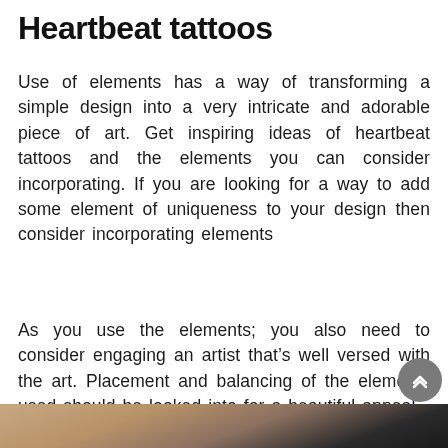Heartbeat tattoos
Use of elements has a way of transforming a simple design into a very intricate and adorable piece of art. Get inspiring ideas of heartbeat tattoos and the elements you can consider incorporating. If you are looking for a way to add some element of uniqueness to your design then consider incorporating elements
As you use the elements; you also need to consider engaging an artist that’s well versed with the art. Placement and balancing of the elements used should be looked into for a beautiful appeal.
[Figure (photo): Close-up photo of skin with a tattoo, showing a person's body partially visible against a dark background.]